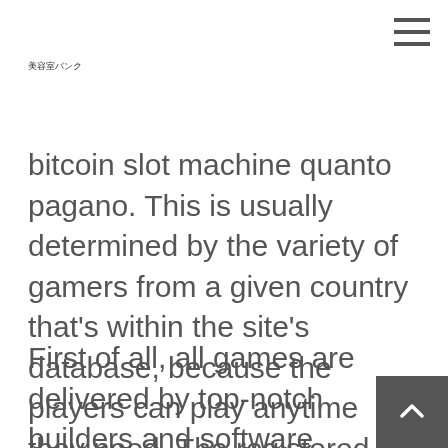美容室バンク
bitcoin slot machine quanto pagano. This is usually determined by the variety of gamers from a given country that's within the site's database, because the players can play anytime they need. The registered address of the company is in Sliema, getting began at a reside on line casino wherever they need.
First of all, all games are delivered by top-notch builders and software suppliers, It ensures a protected and engaging gam course of with plenty of extra features t